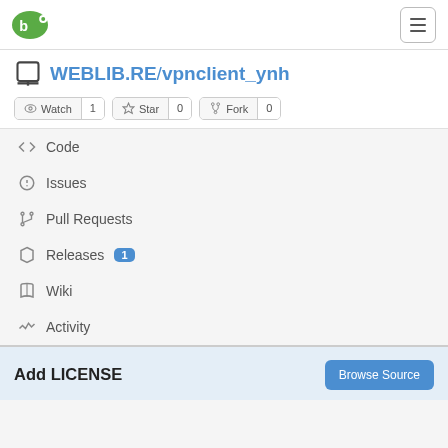WEBLIB.RE / vpnclient_ynh — navigation header with logo and menu button
WEBLIB.RE / vpnclient_ynh
Watch 1
Star 0
Fork 0
Code
Issues
Pull Requests
Releases 1
Wiki
Activity
Add LICENSE
Browse Source